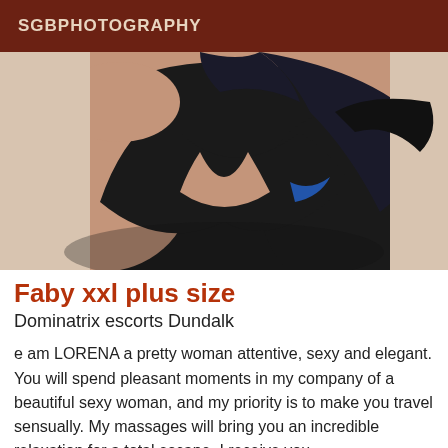SGBPHOTOGRAPHY
[Figure (photo): A woman in a black top taking a selfie, close-up torso/chest area, dark hair visible]
Faby xxl plus size
Dominatrix escorts Dundalk
e am LORENA a pretty woman attentive, sexy and elegant. You will spend pleasant moments in my company of a beautiful sexy woman, and my priority is to make you travel sensually. My massages will bring you an incredible relaxation for a total escape. I receive you